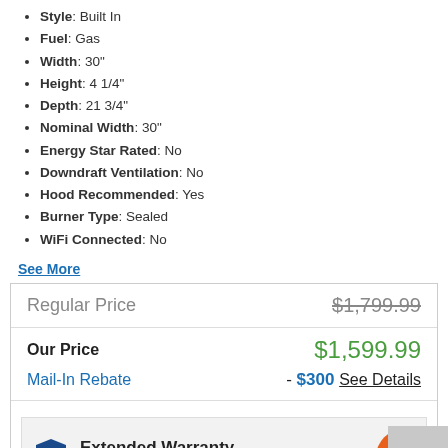Style: Built In
Fuel: Gas
Width: 30"
Height: 4 1/4"
Depth: 21 3/4"
Nominal Width: 30"
Energy Star Rated: No
Downdraft Ventilation: No
Hood Recommended: Yes
Burner Type: Sealed
WiFi Connected: No
See More
| Item | Price |
| --- | --- |
| Regular Price | $1,799.99 |
| Our Price | $1,599.99 |
| Mail-In Rebate | - $300 See Details |
Extended Warranty
5 Year(s) of Protection: +$249.99